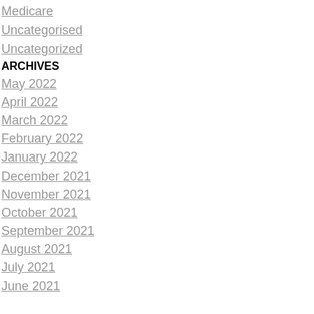Medicare
Uncategorised
Uncategorized
ARCHIVES
May 2022
April 2022
March 2022
February 2022
January 2022
December 2021
November 2021
October 2021
September 2021
August 2021
July 2021
June 2021